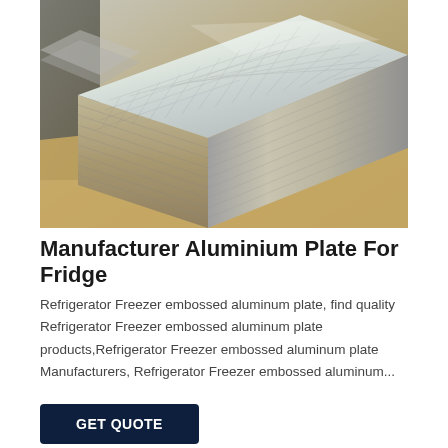[Figure (photo): Stack of embossed aluminium/aluminum checker plates photographed in a warehouse setting. The plates have a diamond/checker pattern on top and are stacked on brown kraft paper. The silver metallic surface reflects light. Background shows more stacked materials.]
Manufacturer Aluminium Plate For Fridge
Refrigerator Freezer embossed aluminum plate, find quality Refrigerator Freezer embossed aluminum plate products,Refrigerator Freezer embossed aluminum plate Manufacturers, Refrigerator Freezer embossed aluminum...
GET QUOTE